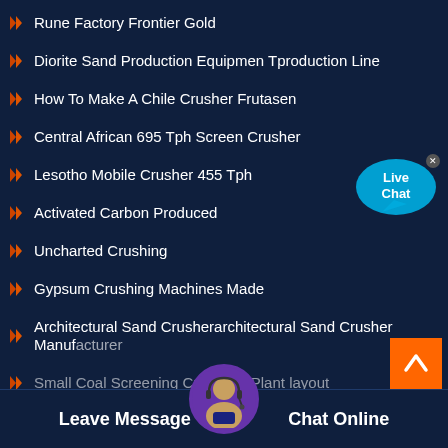Rune Factory Frontier Gold
Diorite Sand Production Equipmen Tproduction Line
How To Make A Chile Crusher Frutasen
Central African 695 Tph Screen Crusher
Lesotho Mobile Crusher 455 Tph
Activated Carbon Produced
Uncharted Crushing
Gypsum Crushing Machines Made
Architectural Sand Crusherarchitectural Sand Crusher Manufacturer
Small Coal Screening Crushing Plant layout
Gabon 835 Tph Screen Crusher
[Figure (illustration): Live Chat speech bubble icon in cyan/blue with 'Live Chat' text and a close X button]
[Figure (illustration): Orange back-to-top button with white chevron arrow]
[Figure (illustration): Customer service avatar with headset in circular purple-bordered frame]
Leave Message
Chat Online